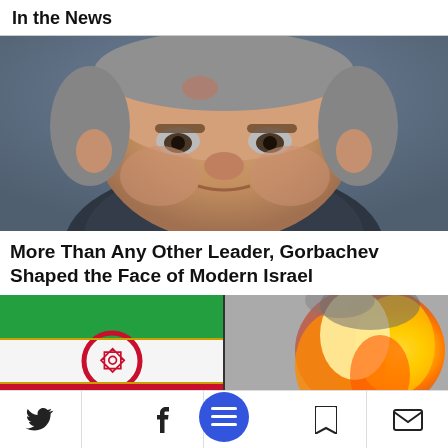In the News
[Figure (photo): Close-up photo of an elderly man in a dark suit with a yellow tie]
More Than Any Other Leader, Gorbachev Shaped the Face of Modern Israel
[Figure (photo): Side-by-side image of the Iranian flag on the left and a large ball of fire/explosion on the right]
Navigation bar with Twitter, Facebook, menu, bookmark, and mail icons